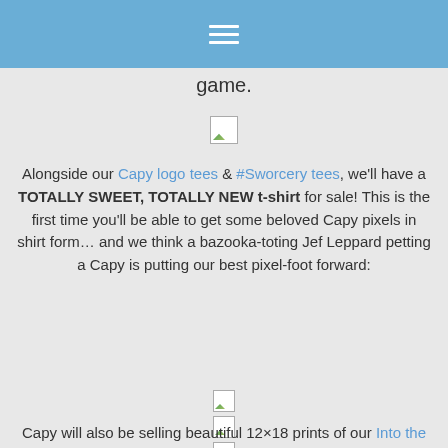≡
game.
[Figure (other): Broken image placeholder]
Alongside our Capy logo tees & #Sworcery tees, we'll have a TOTALLY SWEET, TOTALLY NEW t-shirt for sale! This is the first time you'll be able to get some beloved Capy pixels in shirt form… and we think a bazooka-toting Jef Leppard petting a Capy is putting our best pixel-foot forward:
[Figure (other): Broken image placeholder 1]
[Figure (other): Broken image placeholder 2]
[Figure (other): Broken image placeholder 3]
Capy will also be selling beautiful 12×18 prints of our Into the Pixel 2013 selected piece, SUPER SUMMER